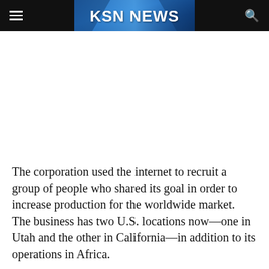KSN NEWS
[Figure (logo): KSN NEWS logo on blue gradient background with dark header bar containing hamburger menu and search icon]
The corporation used the internet to recruit a group of people who shared its goal in order to increase production for the worldwide market. The business has two U.S. locations now—one in Utah and the other in California—in addition to its operations in Africa.